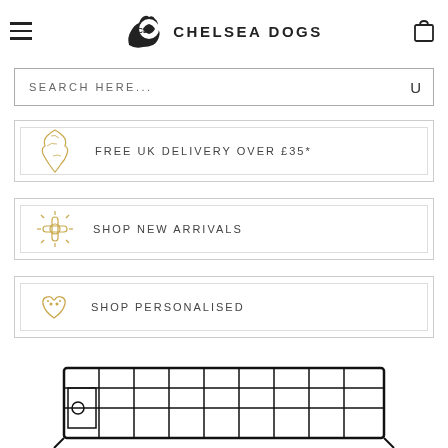Chelsea Dogs
SEARCH HERE...
FREE UK DELIVERY OVER £35*
SHOP NEW ARRIVALS
SHOP PERSONALISED
[Figure (photo): Bottom portion of a black wire dog crate/cage partially visible at the bottom of the page]